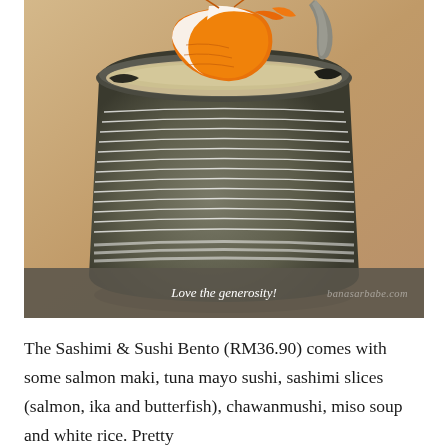[Figure (photo): Close-up photo of a ceramic cup/bowl with horizontal white stripe pattern containing chawanmushi (Japanese steamed egg custard) topped with a large shrimp/prawn, set on a light wooden surface. The cup has a dark grey/olive color with decorative horizontal white lines.]
Love the generosity!
The Sashimi & Sushi Bento (RM36.90) comes with some salmon maki, tuna mayo sushi, sashimi slices (salmon, ika and butterfish), chawanmushi, miso soup and white rice. Pretty